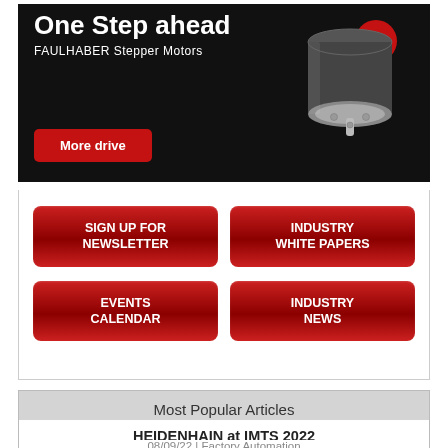[Figure (infographic): FAULHABER Stepper Motors advertisement. Black background with text 'One Step ahead', 'FAULHABER Stepper Motors', a red 'NEW' badge, a stepper motor image, and a red button reading 'More drive'.]
[Figure (infographic): Four red buttons: 'SIGN UP FOR NEWSLETTER', 'INDUSTRY WHITE PAPERS', 'EVENTS CALENDAR', 'INDUSTRY NEWS']
Most Popular Articles
HEIDENHAIN at IMTS 2022
08/09/22 | Factory Automation
Integrating the Permanent Torque High Micron...